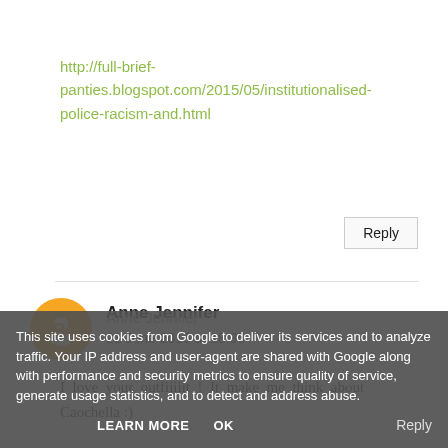http://full-brief-panties.blogspot.com/2015/05/institutionalised-police-racism-and.html
Reply
Anne Jennifer
21 June 2015 at 18:35
I love your outfiiiiit ! It make me think about Caochella :)
Anne Jennifer
This site uses cookies from Google to deliver its services and to analyze traffic. Your IP address and user-agent are shared with Google along with performance and security metrics to ensure quality of service, generate usage statistics, and to detect and address abuse.
LEARN MORE   OK
Reply